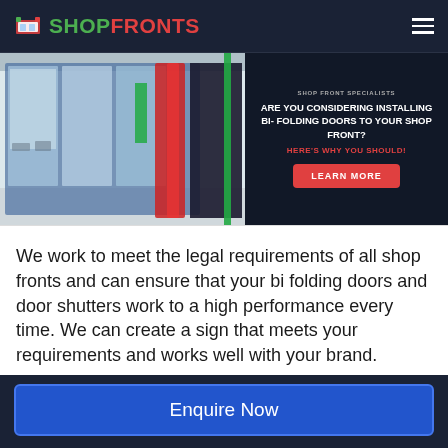SHOPFRONTS
[Figure (screenshot): Banner image showing a shopfront with bi-folding doors on the left side, and a dark panel on the right with text 'ARE YOU CONSIDERING INSTALLING BI-FOLDING DOORS TO YOUR SHOP FRONT?' with a red 'LEARN MORE' button.]
We work to meet the legal requirements of all shop fronts and can ensure that your bi folding doors and door shutters work to a high performance every time. We can create a sign that meets your requirements and works well with your brand.
If you would like to receive even more information on bi folding doors and other shop
Enquire Now